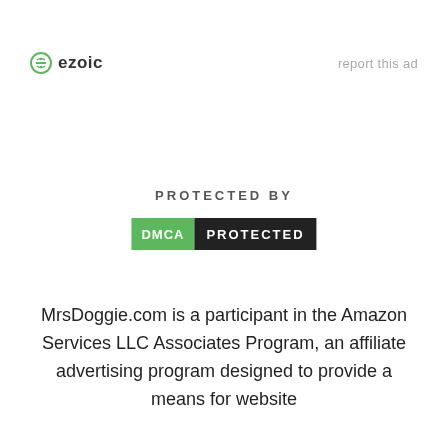[Figure (logo): Ezoic logo with circular icon and bold text 'ezoic', plus 'report this ad' link on the right]
PROTECTED BY
[Figure (logo): DMCA PROTECTED badge with green DMCA label and dark PROTECTED label]
MrsDoggie.com is a participant in the Amazon Services LLC Associates Program, an affiliate advertising program designed to provide a means for website